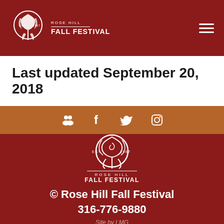[Figure (logo): Rose Hill Fall Festival logo with rose graphic, EST. 1967, in dark red header bar with hamburger menu icon]
Last updated September 20, 2018
[Figure (infographic): Social media icons bar: group/people icon, Facebook f, Twitter bird, Instagram camera, on brown/copper background]
[Figure (logo): Rose Hill Fall Festival large logo centered on dark red background, white rose graphic, EST. 1967]
© Rose Hill Fall Festival
316-776-9880
Site by LMG